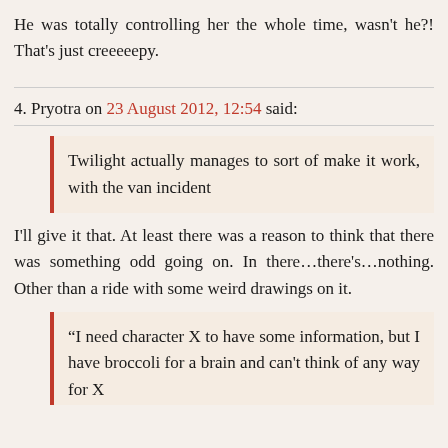He was totally controlling her the whole time, wasn't he?! That's just creeeeepy.
4. Pryotra on 23 August 2012, 12:54 said:
Twilight actually manages to sort of make it work, with the van incident
I'll give it that. At least there was a reason to think that there was something odd going on. In there…there's…nothing. Other than a ride with some weird drawings on it.
“I need character X to have some information, but I have broccoli for a brain and can’t think of any way for X